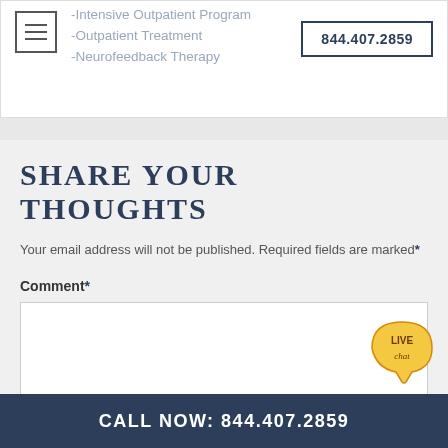-Intensive Outpatient Program
-Outpatient Treatment
-Neurofeedback Therapy
844.407.2859
SHARE YOUR THOUGHTS
Your email address will not be published. Required fields are marked*
Comment*
[Figure (other): Live chat bubble icon with text LIVE chat]
CALL NOW: 844.407.2859